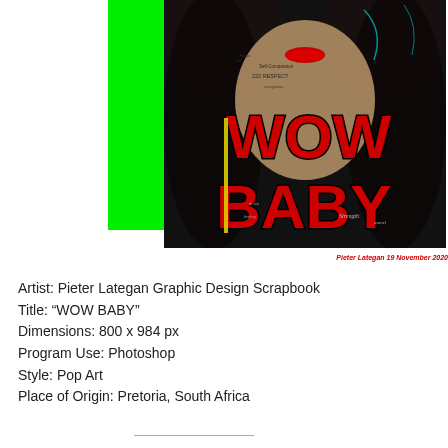[Figure (illustration): Pop Art digital illustration showing a woman with tattoo-like text written all over her face and body, with large red bold text reading 'WOW BABY' overlaid. A green vertical bar is on the left side of the image. The image has a dark, graphic design aesthetic. Watermark reads: Pieter Lategan 19 November 2020]
Artist: Pieter Lategan Graphic Design Scrapbook
Title: “WOW BABY”
Dimensions: 800 x 984 px
Program Use: Photoshop
Style: Pop Art
Place of Origin: Pretoria, South Africa